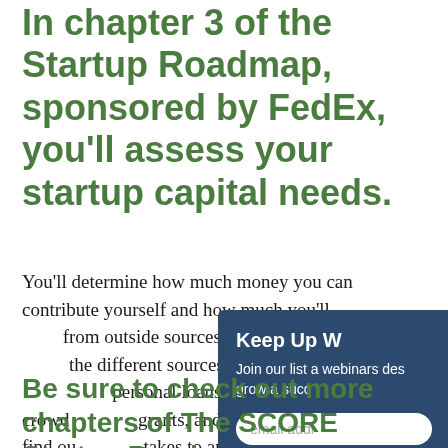In chapter 3 of the Startup Roadmap, sponsored by FedEx, you'll assess your startup capital needs.
You'll determine how much money you can contribute yourself and how much you'll need to raise from outside sources. You'll also learn more about the different sources of funding, such as SBA loans, personal loans, nonprofit lenders, crowdfunding, grants, and more. Finally, you will find out what it takes to approach a funding source and raise the money you want.
[Figure (screenshot): Dark blue popup overlay box with heading 'Keep Up W...' and subtext 'Join our list a... webinars des... grow a succ...' and an email address input field with placeholder 'email addr...']
Be sure to check out more chapters of The SCORE Startup Roadmap: